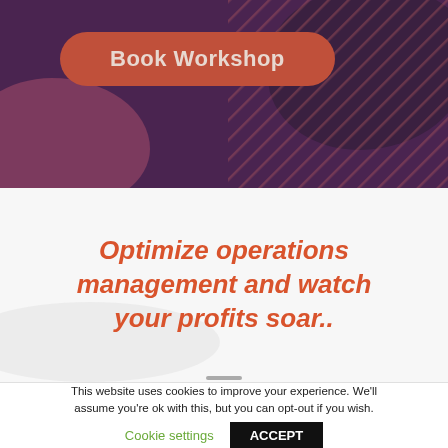[Figure (illustration): Dark purple/maroon banner background with decorative abstract blobs and diagonal stripe pattern, containing a rounded rectangle button labeled 'Book Workshop' in terracotta/salmon color]
Book Workshop
Optimize operations management and watch your profits soar..
This website uses cookies to improve your experience. We'll assume you're ok with this, but you can opt-out if you wish.
Cookie settings
ACCEPT